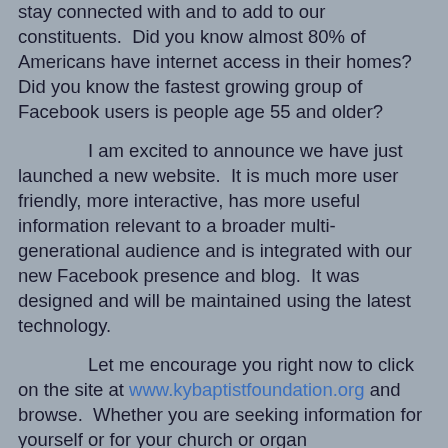stay connected with and to add to our constituents.  Did you know almost 80% of Americans have internet access in their homes?  Did you know the fastest growing group of Facebook users is people age 55 and older?
I am excited to announce we have just launched a new website.  It is much more user friendly, more interactive, has more useful information relevant to a broader multi-generational audience and is integrated with our new Facebook presence and blog.  It was designed and will be maintained using the latest technology.
Let me encourage you right now to click on the site at www.kybaptistfoundation.org and browse.  Whether you are seeking information for yourself or for your church or organ ization, you will be impressed immediately with the simplicity of the home page from which you can navigate through the channel or channels in which you have an interest.
From the website you can access easily our Facebook page, which includes regularly changing articles